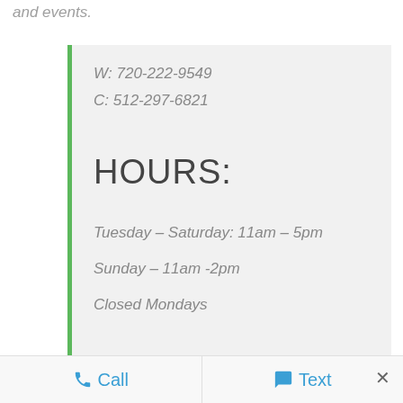and events.
W: 720-222-9549
C: 512-297-6821
HOURS:
Tuesday – Saturday: 11am – 5pm
Sunday – 11am -2pm
Closed Mondays
Call   Text